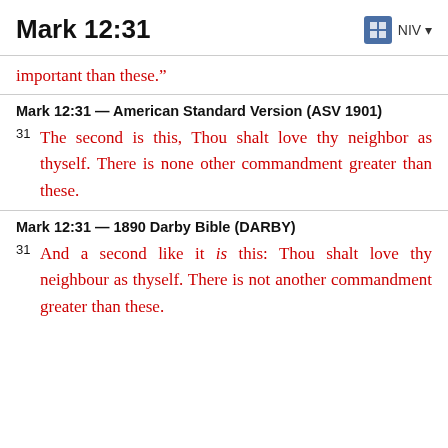Mark 12:31 NIV
important than these.”
Mark 12:31 — American Standard Version (ASV 1901)
31 The second is this, Thou shalt love thy neighbor as thyself. There is none other commandment greater than these.
Mark 12:31 — 1890 Darby Bible (DARBY)
31 And a second like it is this: Thou shalt love thy neighbour as thyself. There is not another commandment greater than these.